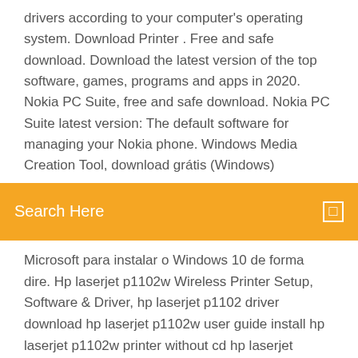drivers according to your computer's operating system. Download Printer . Free and safe download. Download the latest version of the top software, games, programs and apps in 2020. Nokia PC Suite, free and safe download. Nokia PC Suite latest version: The default software for managing your Nokia phone. Windows Media Creation Tool, download grátis (Windows)
Search Here
Microsoft para instalar o Windows 10 de forma dire. Hp laserjet p1102w Wireless Printer Setup, Software & Driver, hp laserjet p1102 driver download hp laserjet p1102w user guide install hp laserjet p1102w printer without cd hp laserjet p1102w troubleshooting hp laserjet p1102w toner... Printer Driver For HP LaserJet Pro P1102wPrinter Driver For HP LaserJet Pro P1102w - HP laserjet professional p1102 toner
25 Feb 2011 Download HP LaserJet Pro P1102w Printer Driver 4.0 for Mac OS X. OS support: Mac OS X